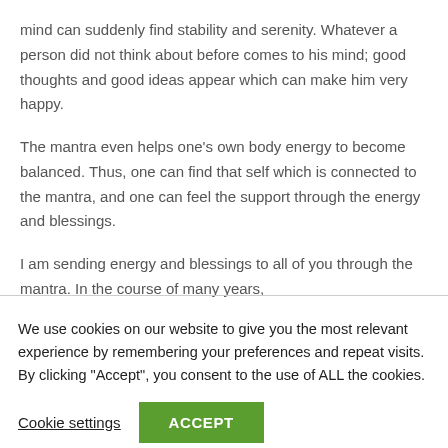mind can suddenly find stability and serenity. Whatever a person did not think about before comes to his mind; good thoughts and good ideas appear which can make him very happy.
The mantra even helps one's own body energy to become balanced. Thus, one can find that self which is connected to the mantra, and one can feel the support through the energy and blessings.
I am sending energy and blessings to all of you through the mantra. In the course of many years,
We use cookies on our website to give you the most relevant experience by remembering your preferences and repeat visits. By clicking "Accept", you consent to the use of ALL the cookies.
Cookie settings
ACCEPT